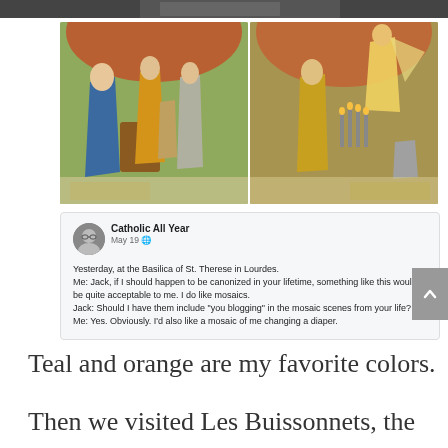[Figure (photo): Partial top of a dark photo, cropped — a building or cityscape visible at the very top of the page]
[Figure (photo): Two mosaic artworks side by side from the Basilica of St. Therese in Lourdes. Left mosaic shows robed figures around a baptism or religious scene with teal and orange. Right mosaic shows priestly figures with an angel and candles.]
[Figure (screenshot): Screenshot of a Facebook post by 'Catholic All Year' dated May 19. The post reads: 'Yesterday, at the Basilica of St. Therese in Lourdes. Me: Jack, if I should happen to be canonized in your lifetime, something like this would be quite acceptable to me. I do like mosaics. Jack: Should I have them include "you blogging" in the mosaic scenes from your life? Me: Yes. Obviously. I'd also like a mosaic of me changing a diaper.']
Teal and orange are my favorite colors.
Then we visited Les Buissonnets, the